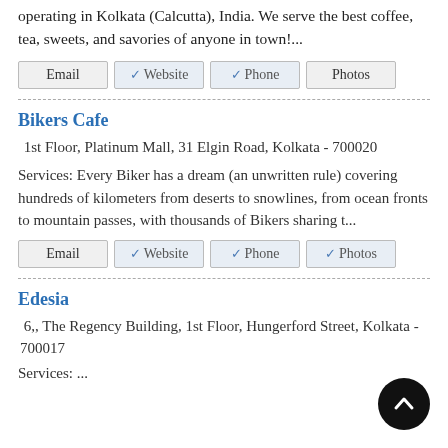operating in Kolkata (Calcutta), India. We serve the best coffee, tea, sweets, and savories of anyone in town!...
Email  ✓ Website  ✓ Phone  Photos
Bikers Cafe
1st Floor, Platinum Mall, 31 Elgin Road, Kolkata - 700020
Services: Every Biker has a dream (an unwritten rule) covering hundreds of kilometers from deserts to snowlines, from ocean fronts to mountain passes, with thousands of Bikers sharing t...
Email  ✓ Website  ✓ Phone  ✓ Photos
Edesia
6,, The Regency Building, 1st Floor, Hungerford Street, Kolkata - 700017
Services: ...